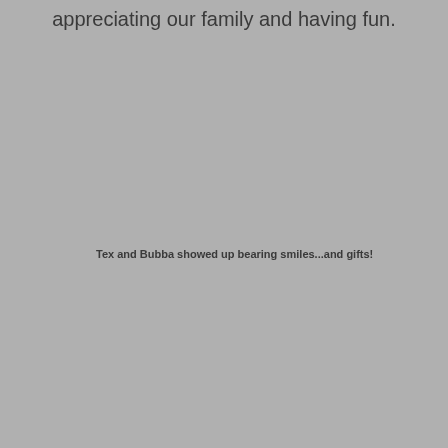appreciating our family and having fun.
Tex and Bubba showed up bearing smiles...and gifts!